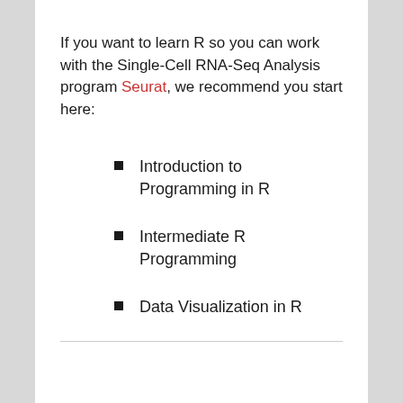If you want to learn R so you can work with the Single-Cell RNA-Seq Analysis program Seurat, we recommend you start here:
Introduction to Programming in R
Intermediate R Programming
Data Visualization in R